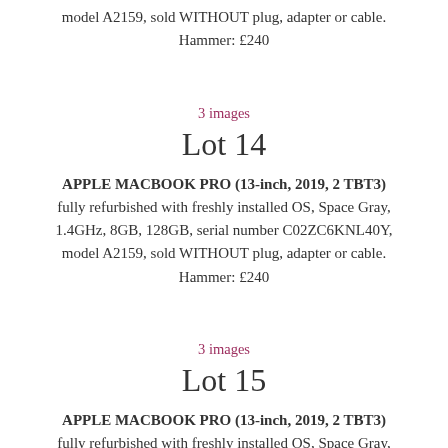model A2159, sold WITHOUT plug, adapter or cable. Hammer: £240
3 images
Lot 14
APPLE MACBOOK PRO (13-inch, 2019, 2 TBT3) fully refurbished with freshly installed OS, Space Gray, 1.4GHz, 8GB, 128GB, serial number C02ZC6KNL40Y, model A2159, sold WITHOUT plug, adapter or cable. Hammer: £240
3 images
Lot 15
APPLE MACBOOK PRO (13-inch, 2019, 2 TBT3) fully refurbished with freshly installed OS, Space Gray, 1.4GHz, 8GB, 128GB, serial number C02ZC8PML40Y,